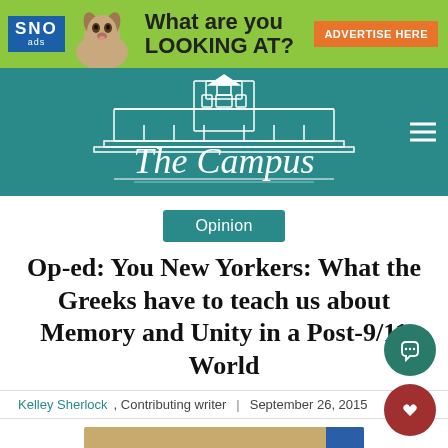[Figure (screenshot): SNO ads banner with green background, chihuahua dog image, bold text 'What are you LOOKING AT?' and orange 'ADVERTISE HERE' button]
[Figure (logo): The Campus newspaper logo — white building/tower illustration on teal background with 'The Campus' text]
Opinion
Op-ed: You New Yorkers: What the Greeks have to teach us about Memory and Unity in a Post-9/11 World
Kelley Sherlock, Contributing writer | September 26, 2015
[Figure (screenshot): Partial bottom image strip showing SNO-related content in tan/gold color with blue accent]